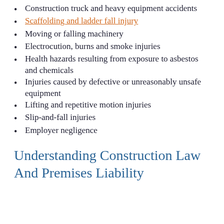Construction truck and heavy equipment accidents
Scaffolding and ladder fall injury
Moving or falling machinery
Electrocution, burns and smoke injuries
Health hazards resulting from exposure to asbestos and chemicals
Injuries caused by defective or unreasonably unsafe equipment
Lifting and repetitive motion injuries
Slip-and-fall injuries
Employer negligence
Understanding Construction Law And Premises Liability